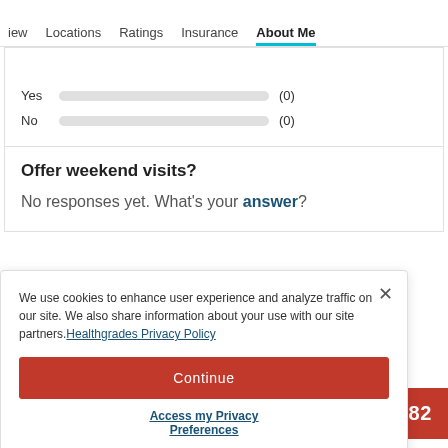iew   Locations   Ratings   Insurance   About Me
Yes (0)
No (0)
Offer weekend visits?
No responses yet. What's your answer?
We use cookies to enhance user experience and analyze traffic on our site. We also share information about your use with our site partners. Healthgrades Privacy Policy
Continue
Access my Privacy Preferences
7-8382